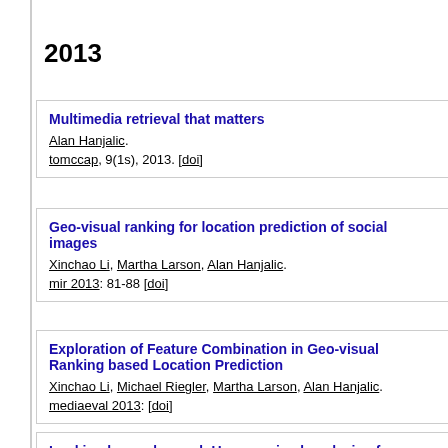2013
Multimedia retrieval that matters
Alan Hanjalic.
tomccap, 9(1s), 2013. [doi]
Geo-visual ranking for location prediction of social images
Xinchao Li, Martha Larson, Alan Hanjalic.
mir 2013: 81-88 [doi]
Exploration of Feature Combination in Geo-visual Ranking based Location Prediction
Xinchao Li, Michael Riegler, Martha Larson, Alan Hanjalic.
mediaeval 2013: [doi]
Looking beyond sound: Unsupervised analysis of musician
Cynthia C. S. Liem, Alessio Bazzica, Alan Hanjalic.